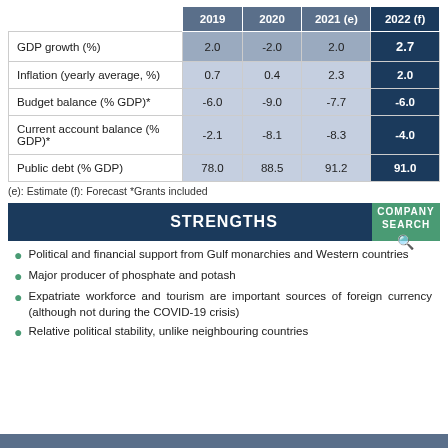|  | 2019 | 2020 | 2021 (e) | 2022 (f) |
| --- | --- | --- | --- | --- |
| GDP growth (%) | 2.0 | -2.0 | 2.0 | 2.7 |
| Inflation (yearly average, %) | 0.7 | 0.4 | 2.3 | 2.0 |
| Budget balance (% GDP)* | -6.0 | -9.0 | -7.7 | -6.0 |
| Current account balance (% GDP)* | -2.1 | -8.1 | -8.3 | -4.0 |
| Public debt (% GDP) | 78.0 | 88.5 | 91.2 | 91.0 |
(e): Estimate (f): Forecast *Grants included
STRENGTHS
Political and financial support from Gulf monarchies and Western countries
Major producer of phosphate and potash
Expatriate workforce and tourism are important sources of foreign currency (although not during the COVID-19 crisis)
Relative political stability, unlike neighbouring countries